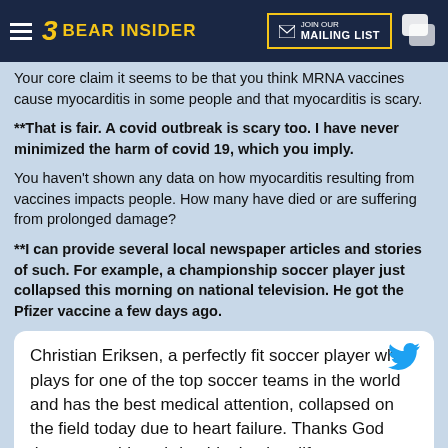BEAR INSIDER — JOIN OUR MAILING LIST
Your core claim it seems to be that you think MRNA vaccines cause myocarditis in some people and that myocarditis is scary.
**That is fair. A covid outbreak is scary too. I have never minimized the harm of covid 19, which you imply.
You haven't shown any data on how myocarditis resulting from vaccines impacts people. How many have died or are suffering from prolonged damage?
**I can provide several local newspaper articles and stories of such. For example, a championship soccer player just collapsed this morning on national television. He got the Pfizer vaccine a few days ago.
Christian Eriksen, a perfectly fit soccer player who plays for one of the top soccer teams in the world and has the best medical attention, collapsed on the field today due to heart failure. Thanks God they were able to bring him back to life.
He was given Pfizer a few days ago